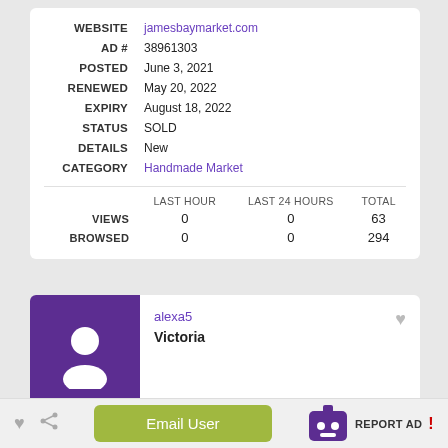| Field | Value |
| --- | --- |
| WEBSITE | jamesbaymarket.com |
| AD # | 38961303 |
| POSTED | June 3, 2021 |
| RENEWED | May 20, 2022 |
| EXPIRY | August 18, 2022 |
| STATUS | SOLD |
| DETAILS | New |
| CATEGORY | Handmade Market |
|  | LAST HOUR | LAST 24 HOURS | TOTAL |
| --- | --- | --- | --- |
| VIEWS | 0 | 0 | 63 |
| BROWSED | 0 | 0 | 294 |
alexa5
Victoria
Email User
REPORT AD